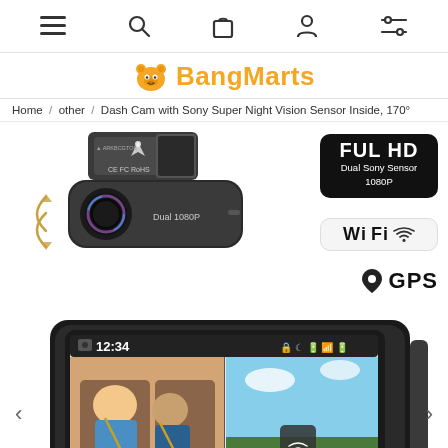Navigation bar with menu, search, cart, account, and filter icons
BangMarts
Home / other / Dash Cam with Sony Super Night Vision Sensor Inside, 170°
[Figure (photo): Dash cam product photo showing a dual-channel dash camera (Dual 1080P) with GPS module, colorful camera lens, and rotation arrows. Badges on right: FUL HD Dual Sony Sensor 1080P, WiFi, GPS.]
[Figure (photo): Dash cam LCD screen showing split view: interior camera view (family in car) and exterior camera view (sky/road) with time 12:34 displayed. Large dark-bezel device shown from front. Left and right navigation arrows visible.]